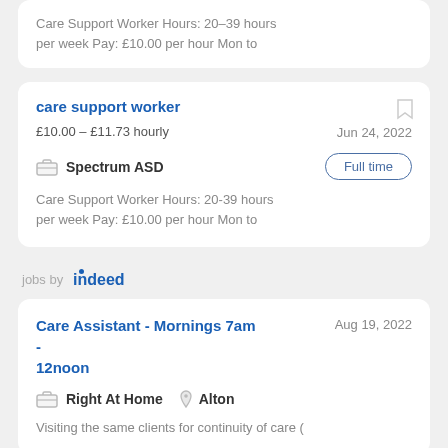Care Support Worker Hours: 20-39 hours per week Pay: £10.00 per hour Mon to
care support worker
£10.00 - £11.73 hourly
Jun 24, 2022
Spectrum ASD
Full time
Care Support Worker Hours: 20-39 hours per week Pay: £10.00 per hour Mon to
jobs by indeed
Care Assistant - Mornings 7am - 12noon
Aug 19, 2022
Right At Home
Alton
Visiting the same clients for continuity of care (